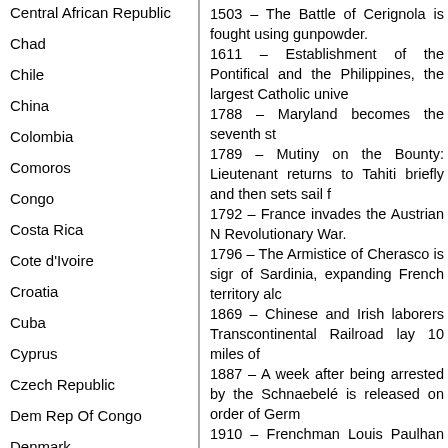Central African Republic
Chad
Chile
China
Colombia
Comoros
Congo
Costa Rica
Cote d'Ivoire
Croatia
Cuba
Cyprus
Czech Republic
Dem Rep Of Congo
Denmark
Djibouti
Dominica
Dominican Republic
1503 – The Battle of Cerignola is fought using gunpowder. 1611 – Establishment of the Pontifical and the Philippines, the largest Catholic unive 1788 – Maryland becomes the seventh st 1789 – Mutiny on the Bounty: Lieutenant returns to Tahiti briefly and then sets sail f 1792 – France invades the Austrian N Revolutionary War. 1796 – The Armistice of Cherasco is sigr of Sardinia, expanding French territory alc 1869 – Chinese and Irish laborers Transcontinental Railroad lay 10 miles of 1887 – A week after being arrested by the Schnaebelé is released on order of Germ 1910 – Frenchman Louis Paulhan wins th aeroplane race in England. 1920 – Azerbaijan is added to the Soviet I 1930 – The first night game in organized b 1932 – A vaccine for yellow fever is annou 1944 – World War II: Nine German E-b rehearsal for the Normandy landings, killin 1945 – Benito Mussolini and his mistres: members of the Italian resistance movem 1947 – Thor Heyerdahl and five crew ma natives could have settled Polynesia. 1948 – Igor Stravinsky conducted the pr New York City Center. 1949 – Former First Lady of the Philipp dedicate a hospital in memory of her late